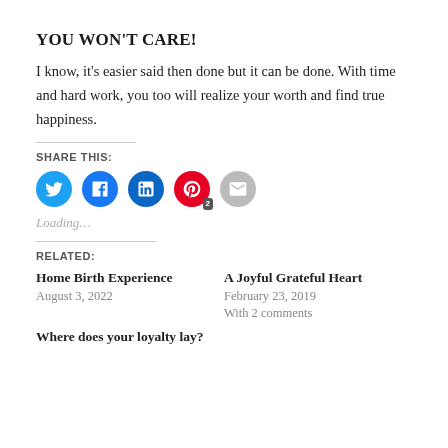YOU WON'T CARE!
I know, it's easier said then done but it can be done. With time and hard work, you too will realize your worth and find true happiness.
SHARE THIS:
[Figure (infographic): Social sharing icons: Twitter (blue), Facebook (blue), LinkedIn (dark blue), Pinterest (red) with badge '2', Email (gray)]
Loading...
RELATED:
Home Birth Experience
August 3, 2022
A Joyful Grateful Heart
February 23, 2019
With 2 comments
Where does your loyalty lay?